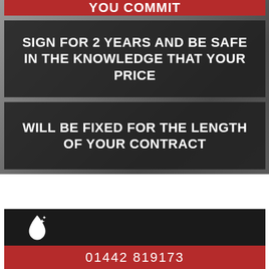YOU COMMIT
SIGN FOR 2 YEARS AND BE SAFE IN THE KNOWLEDGE THAT YOUR PRICE
WILL BE FIXED FOR THE LENGTH OF YOUR CONTRACT
[Figure (logo): White flame/droplet logo icon on dark background]
01442 819173